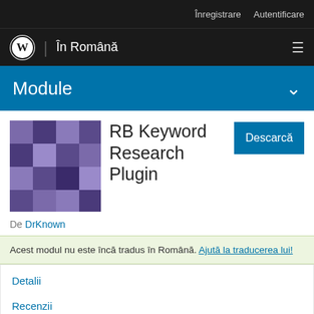Înregistrare  Autentificare
În Română
Module
[Figure (illustration): Plugin thumbnail with purple mosaic/pixel pattern on dark background]
RB Keyword Research Plugin
Descarcă
De DrKnown
Acest modul nu este încă tradus în Română. Ajută la traducerea lui!
Detalii
Recenzii